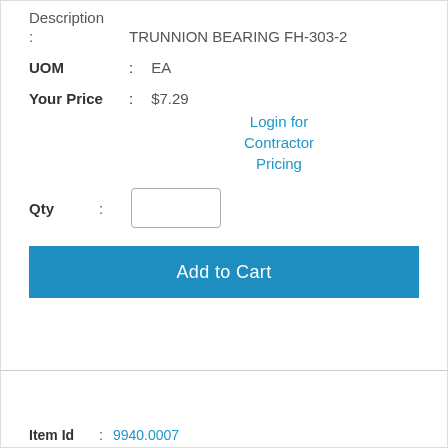Description
: TRUNNION BEARING FH-303-2
UOM : EA
Your Price : $7.29
Login for Contractor Pricing
Qty :
Add to Cart
[Figure (photo): White trunnion bearing FH-303-2 product photo]
Item Id : 9940.0007